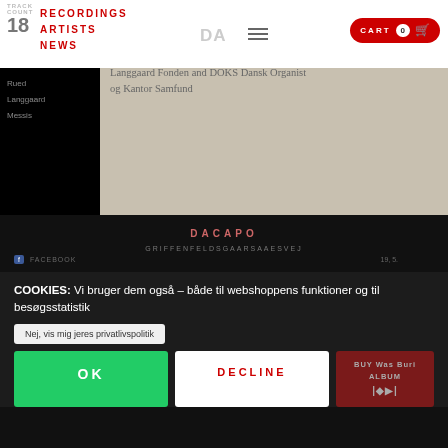TRACK COUNT 18 | RECORDINGS | ARTISTS | NEWS | DA | CART 0
Rued Langgaard, Messis
Edition Samfundet (In tenebras exteriores); (Messis), Edition Samfundet (In tenebras exteriores);
This recording has been sponsored by Langgaard Fonden and DOKS Dansk Organist og Kantor Samfund
DACAPO
GRIFFENFELDSGAARSAAESVEJ
FACEBOOK 19, 5.
COOKIES: Vi bruger dem også – både til webshoppens funktioner og til besøgsstatistik
Nej, vis mig jeres privatlivspolitik
OK
DECLINE
BUY Was Buried ALBUM